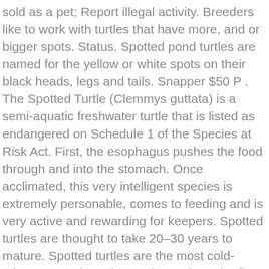sold as a pet; Report illegal activity. Breeders like to work with turtles that have more, and or bigger spots. Status. Spotted pond turtles are named for the yellow or white spots on their black heads, legs and tails. Snapper $50 P . The Spotted Turtle (Clemmys guttata) is a semi-aquatic freshwater turtle that is listed as endangered on Schedule 1 of the Species at Risk Act. First, the esophagus pushes the food through and into the stomach. Once acclimated, this very intelligent species is extremely personable, comes to feeding and is very active and rewarding for keepers. Spotted turtles are thought to take 20–30 years to mature. Spotted turtles are the most cold-tolerant Ontario turtle species and are the first to emerge to bask in the spring — sometimes sunning themselves next to mounds of melting snow. Tadpoles are an important spring food, but Spotted Turtles also eat vegetation, fruit, and insects. Spotted turtle hatchlings are excessively shy till they grow up. At the Zoo, these turtles are fed worms, crickets, and commercially prepared turtle chow. The turtle usually then dives down and